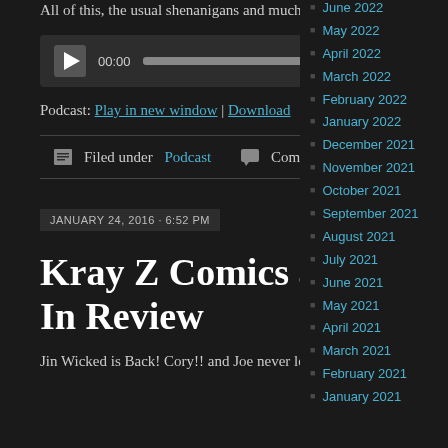All of this, the usual shenanigans and much, much more!
[Figure (other): Audio player widget with play button, 00:00 timestamp, progress bar, and 00:00 end timestamp]
Podcast: Play in new window | Download
Filed under Podcast  Comments Off
JANUARY 24, 2016 · 6:52 PM
Kray Z Comics and Stories 232: 2015 In Review
Jin Wicked is Back!  Cory!! and Joe never left!  And now that the crew is all here, they go over the comics and movies of 2015, along...
June 2022
May 2022
April 2022
March 2022
February 2022
January 2022
December 2021
November 2021
October 2021
September 2021
August 2021
July 2021
June 2021
May 2021
April 2021
March 2021
February 2021
January 2021